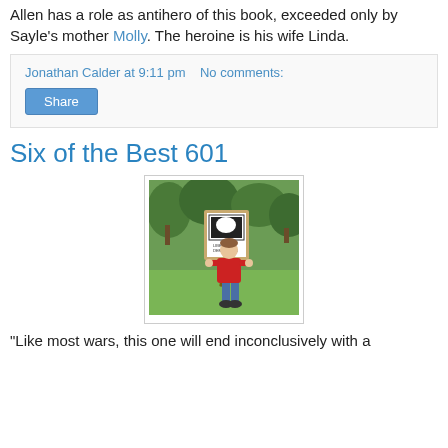Allen has a role as antihero of this book, exceeded only by Sayle's mother Molly. The heroine is his wife Linda.
Jonathan Calder at 9:11 pm   No comments:
Share
Six of the Best 601
[Figure (photo): A child holding a sign on a stick, standing on green grass with trees in the background. The child is wearing a red top and blue jeans.]
"Like most wars, this one will end inconclusively with a